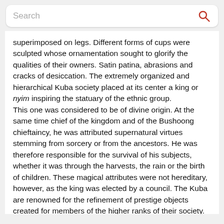Search
superimposed on legs. Different forms of cups were sculpted whose ornamentation sought to glorify the qualities of their owners. Satin patina, abrasions and cracks of desiccation. The extremely organized and hierarchical Kuba society placed at its center a king or nyim inspiring the statuary of the ethnic group. This one was considered to be of divine origin. At the same time chief of the kingdom and of the Bushoong chieftaincy, he was attributed supernatural virtues stemming from sorcery or from the ancestors. He was therefore responsible for the survival of his subjects, whether it was through the harvests, the rain or the birth of children. These magical attributes were not hereditary, however, as the king was elected by a council. The Kuba are renowned for the refinement of prestige objects created for members of the higher ranks of their society. The Lele live in the west of the Kuba kingdom and share common cultural characteristics with the Bushoong of Kuba country. Both groups adorn their prestige objects with similar motifs. Source: Kuba, ed. 5continents, Binkley and Darish.
Watch the video